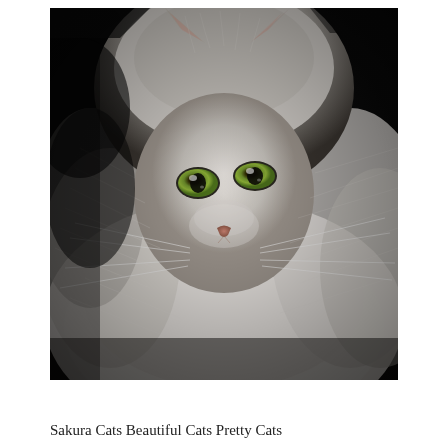[Figure (photo): Close-up portrait of a white long-haired cat with striking green eyes, against a dark background. The cat has fluffy white fur, a small pinkish nose, and green-yellow eyes.]
Sakura Cats Beautiful Cats Pretty Cats